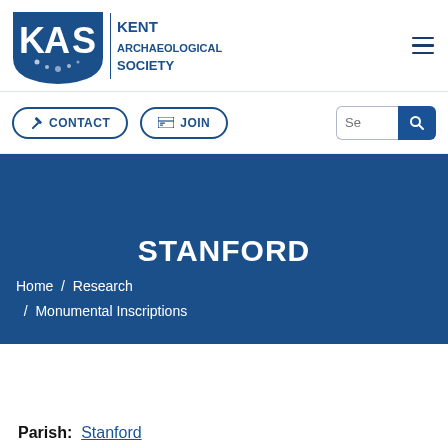[Figure (logo): KAS Kent Archaeological Society logo — blue shield with KAS lettering and archaeological pattern, beside vertical bar and text KENT ARCHAEOLOGICAL SOCIETY]
[Figure (other): Hamburger menu icon (three horizontal lines)]
[Figure (other): CONTACT button with pencil icon, rounded border]
[Figure (other): JOIN button with card icon, rounded border]
[Figure (other): Search input box with magnifying glass button]
STANFORD
Home / Research / Monumental Inscriptions
Parish: Stanford